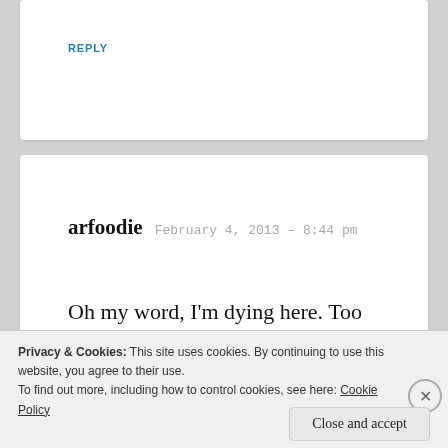REPLY
arfoodie  February 4, 2013 – 8:44 pm
Oh my word, I'm dying here. Too funny. Keep it up!
REPLY
Privacy & Cookies: This site uses cookies. By continuing to use this website, you agree to their use. To find out more, including how to control cookies, see here: Cookie Policy
Close and accept